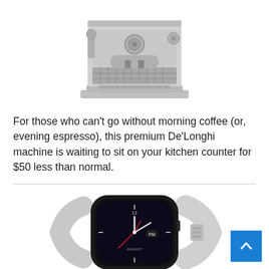[Figure (photo): Premium De'Longhi espresso machine in stainless steel, photographed from front-center on white background]
For those who can't go without morning coffee (or, evening espresso), this premium De'Longhi machine is waiting to sit on your kitchen counter for $50 less than normal.
[Figure (photo): Gray smartwatch (Amazfit GTS 2) showing analog clock face with red second hand, light gray rubber band, photographed at slight angle on white background]
[Figure (other): Blue scroll-to-top button with white upward chevron arrow in bottom-right corner]